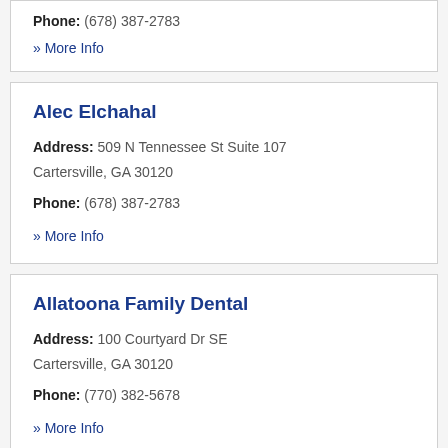Phone: (678) 387-2783
» More Info
Alec Elchahal
Address: 509 N Tennessee St Suite 107 Cartersville, GA 30120
Phone: (678) 387-2783
» More Info
Allatoona Family Dental
Address: 100 Courtyard Dr SE Cartersville, GA 30120
Phone: (770) 382-5678
» More Info